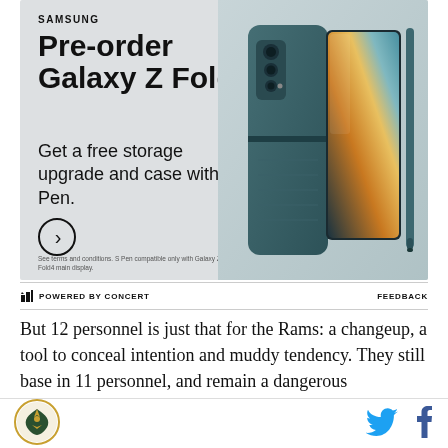[Figure (photo): Samsung advertisement for Galaxy Z Fold4 pre-order. Shows teal/green folding phone with S Pen, camera module, and open display with colorful abstract design. Text: SAMSUNG, Pre-order Galaxy Z Fold4, Get a free storage upgrade and case with S Pen. Circle arrow button. Small disclaimer text at bottom.]
POWERED BY CONCERT  FEEDBACK
But 12 personnel is just that for the Rams: a changeup, a tool to conceal intention and muddy tendency. They still base in 11 personnel, and remain a dangerous
[Figure (logo): Site logo: eagle/hawk emblem in circle]
[Figure (logo): Twitter bird icon in blue]
[Figure (logo): Facebook f icon in blue]